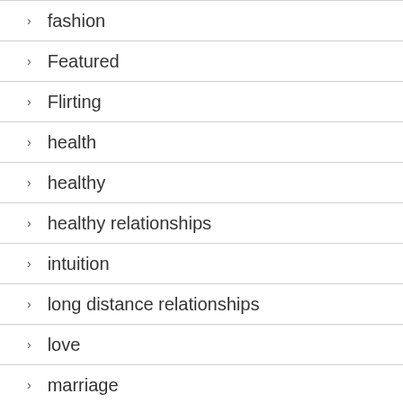fashion
Featured
Flirting
health
healthy
healthy relationships
intuition
long distance relationships
love
marriage
men